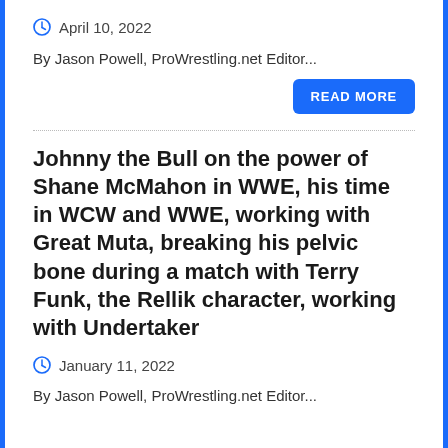April 10, 2022
By Jason Powell, ProWrestling.net Editor...
READ MORE
Johnny the Bull on the power of Shane McMahon in WWE, his time in WCW and WWE, working with Great Muta, breaking his pelvic bone during a match with Terry Funk, the Rellik character, working with Undertaker
January 11, 2022
By Jason Powell, ProWrestling.net Editor...